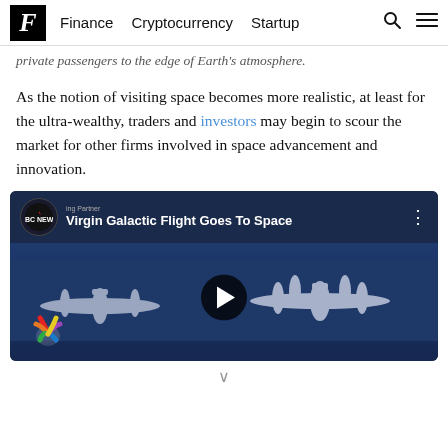F | Finance  Cryptocurrency  Startup
private passengers to the edge of Earth's atmosphere.
As the notion of visiting space becomes more realistic, at least for the ultra-wealthy, traders and investors may begin to scour the market for other firms involved in space advancement and innovation.
[Figure (screenshot): Embedded YouTube video from NBC News titled 'Virgin Galactic Flight Goes To Space' showing aircraft in flight with play button overlay and NBC peacock logo]
∨